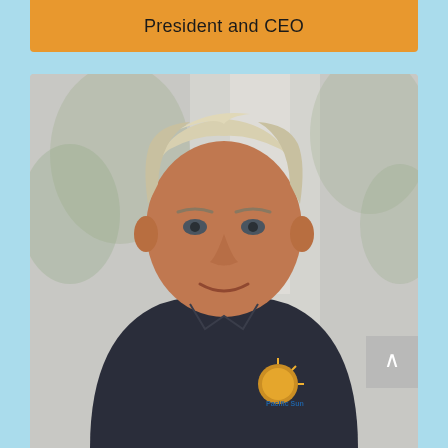President and CEO
[Figure (photo): Portrait photo of a middle-aged man with light blond/white hair wearing a dark navy polo shirt with a Pacific Sun logo, smiling slightly, with a soft blurred indoor/outdoor background.]